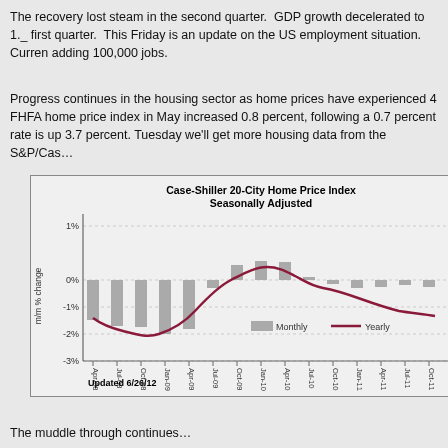The recovery lost steam in the second quarter. GDP growth decelerated to 1._ first quarter. This Friday is an update on the US employment situation. Curren adding 100,000 jobs.
Progress continues in the housing sector as home prices have experienced 4 FHFA home price index in May increased 0.8 percent, following a 0.7 percent rate is up 3.7 percent. Tuesday we’ll get more housing data from the S&P/Cas…
[Figure (bar-chart): Bar chart showing Case-Shiller 20-City Home Price Index monthly % change with a yearly trend line, from Apr-08 to Oct-11. Updated 6/26/12.]
The muddle through continues…